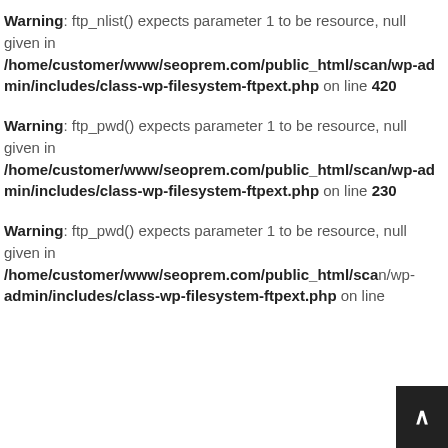Warning: ftp_nlist() expects parameter 1 to be resource, null given in /home/customer/www/seoprem.com/public_html/scan/wp-admin/includes/class-wp-filesystem-ftpext.php on line 420
Warning: ftp_pwd() expects parameter 1 to be resource, null given in /home/customer/www/seoprem.com/public_html/scan/wp-admin/includes/class-wp-filesystem-ftpext.php on line 230
Warning: ftp_pwd() expects parameter 1 to be resource, null given in /home/customer/www/seoprem.com/public_html/scan/wp-admin/includes/class-wp-filesystem-ftpext.php on line [truncated]